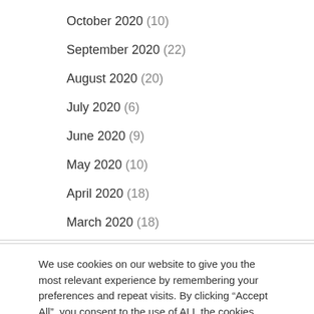October 2020 (10)
September 2020 (22)
August 2020 (20)
July 2020 (6)
June 2020 (9)
May 2020 (10)
April 2020 (18)
March 2020 (18)
We use cookies on our website to give you the most relevant experience by remembering your preferences and repeat visits. By clicking “Accept All”, you consent to the use of ALL the cookies. However, you may visit "Cookie Settings" to provide a controlled consent.
Cookie Settings | Accept All